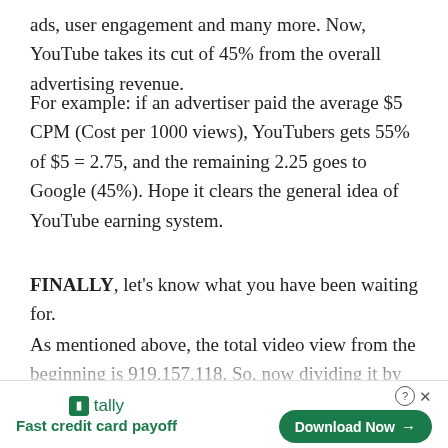ads, user engagement and many more. Now, YouTube takes its cut of 45% from the overall advertising revenue.
For example: if an advertiser paid the average $5 CPM (Cost per 1000 views), YouTubers gets 55% of $5 = 2.75, and the remaining 2.25 goes to Google (45%). Hope it clears the general idea of YouTube earning system.
FINALLY, let’s know what you have been waiting for.
As mentioned above, the total video view from the beginning is 919,157,118. So, now dividing it by 1000, the total number of 1000 views is 919,157
[Figure (other): Advertisement banner for Tally app: Fast credit card payoff, with a Download Now button]